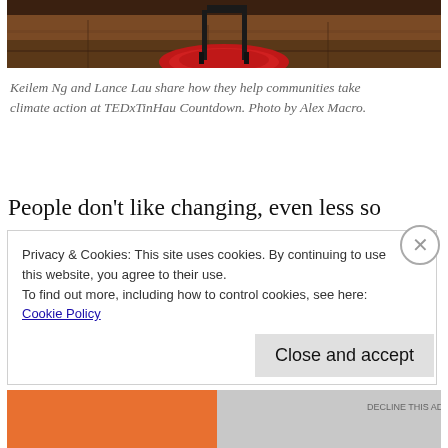[Figure (photo): Photo of a red circular rug with black chair legs on a wooden floor, viewed from above/side, cropped at top of page]
Keilem Ng and Lance Lau share how they help communities take climate action at TEDxTinHau Countdown. Photo by Alex Macro.
People don't like changing, even less so when being told to. Keilem and Lance started their talk with a story about people avoiding them on a recent Friday for Futures climate strike in Hong Kong.
Privacy & Cookies: This site uses cookies. By continuing to use this website, you agree to their use.
To find out more, including how to control cookies, see here:
Cookie Policy
Close and accept